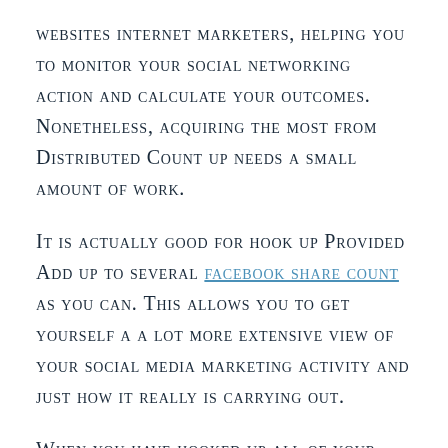websites internet marketers, helping you to monitor your social networking action and calculate your outcomes. Nonetheless, acquiring the most from Distributed Count up needs a small amount of work.
It is actually good for hook up Provided Add up to several facebook share count as you can. This allows you to get yourself a a lot more extensive view of your social media marketing activity and just how it really is carrying out.
When you have hooked up all of your social media credit accounts, take a moment to learn